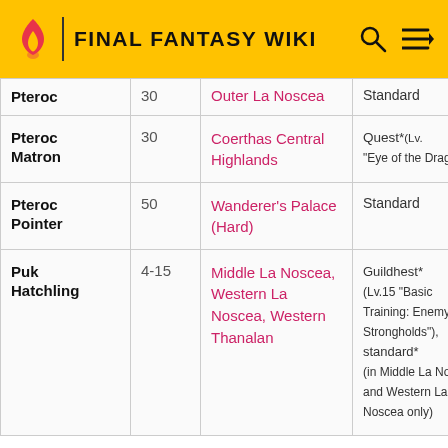FINAL FANTASY WIKI
| Name | Level | Location | Obtain |  |
| --- | --- | --- | --- | --- |
| Pteroc | 30 | Outer La Noscea | Standard | Di |
| Pteroc Matron | 30 | Coerthas Central Highlands | Quest*(Lv. "Eye of the Dragon") | Dr Dr Dr |
| Pteroc Pointer | 50 | Wanderer's Palace (Hard) | Standard | Tu Dr |
| Puk Hatchling | 4-15 | Middle La Noscea, Western La Noscea, Western Thanalan | Guildhest* (Lv.15 "Basic Training: Enemy Strongholds"), standard* (in Middle La Noscea and Western La Noscea only) | Dr Dr Fa Hy Ma Pi Pt |